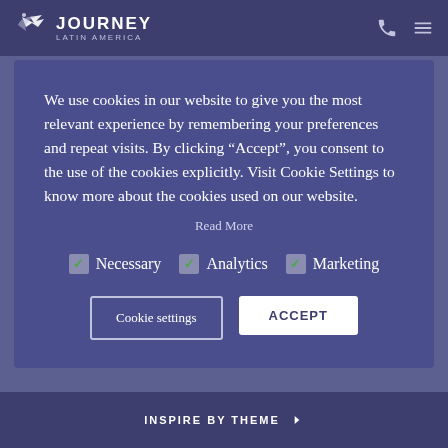JOURNEY LATIN AMERICA
We use cookies in our website to give you the most relevant experience by remembering your preferences and repeat visits. By clicking “Accept”, you consent to the use of the cookies explicitly. Visit Cookie Settings to know more about the cookies used on our website.
Read More
Necessary
Analytics
Marketing
Cookie settings
ACCEPT
INSPIRE BY THEME >